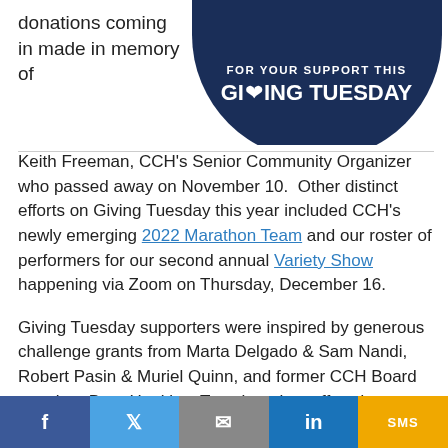donations coming in made in memory of
[Figure (logo): Circular badge on dark navy background with text 'FOR YOUR SUPPORT THIS GIVING TUESDAY' with a heart/wheat symbol replacing the I in GIVING]
Keith Freeman, CCH's Senior Community Organizer who passed away on November 10. Other distinct efforts on Giving Tuesday this year included CCH's newly emerging 2022 Marathon Team and our roster of performers for our second annual Variety Show happening via Zoom on Thursday, December 16.

Giving Tuesday supporters were inspired by generous challenge grants from Marta Delgado & Sam Nandi, Robert Pasin & Muriel Quinn, and former CCH Board member, Dem Hopkins. Together, they offered to match all Giving Tuesday donations to CCH, dollar-for-dollar, up to $100,000
[Figure (other): Social media sharing bar with Facebook, Twitter, Email, LinkedIn, and SMS buttons]